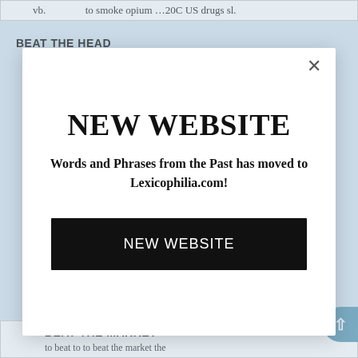vb.      to smoke opium …20C US drugs sl.
BEAT THE HEAD
NEW WEBSITE
Words and Phrases from the Past has moved to Lexicophilia.com!
NEW WEBSITE
BEAT THE MARKET